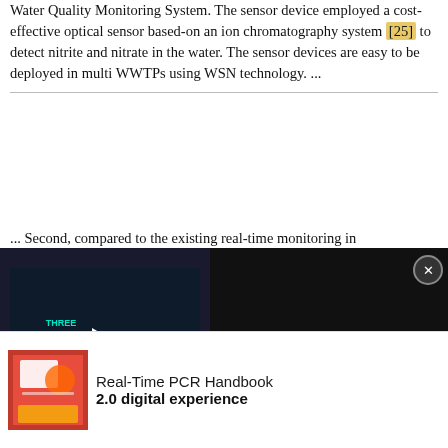Water Quality Monitoring System. The sensor device employed a cost-effective optical sensor based-on an ion chromatography system [25] to detect nitrite and nitrate in the water. The sensor devices are easy to be deployed in multi WWTPs using WSN technology. ...
... Second, compared to the existing real-time monitoring in phytoremediation [13,14], our approach offers a simple hardware configuration and adopts a recent IoT technology. Third, compared to the existing WWTP monitoring systems [15][16][17][18][19][20][21][22][23][24] [25] [26][27][28], our approach offers an efficient tool to monitor and examine the phytoremediation models by
[Figure (screenshot): Video advertisement overlay with dark background. Left panel shows a video thumbnail with play button and text 'THREE GOLDEN RULES OF SUCCESSFUL STEM MARKETING' in teal/green. Right panel shows white text 'Three golden rules of successful STEM marketing' with a close (X) button.]
[Figure (photo): Bottom promotional banner showing a book/product image on the left (person using laptop with orange background) and text 'Real-Time PCR Handbook 2.0 digital experience' on the right.]